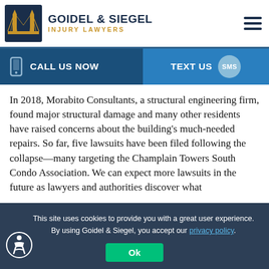[Figure (logo): Goidel & Siegel Injury Lawyers logo with Brooklyn Bridge graphic in navy/gold]
GOIDEL & SIEGEL
INJURY LAWYERS
CALL US NOW
TEXT US SMS
In 2018, Morabito Consultants, a structural engineering firm, found major structural damage and many other residents have raised concerns about the building's much-needed repairs. So far, five lawsuits have been filed following the collapse—many targeting the Champlain Towers South Condo Association. We can expect more lawsuits in the future as lawyers and authorities discover what
building collapse is followed closely
This site uses cookies to provide you with a great user experience. By using Goidel & Siegel, you accept our privacy policy.
Ok